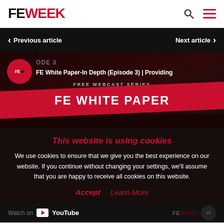FE WEEK
< Previous article     Next article >
[Figure (screenshot): FE White Paper-In Depth (Episode 3) video thumbnail with FEW badge, 'FREE WEBCAST SERIES' subtitle, and 'FE WHITE PAPER' red banner]
This website is using cookies
We use cookies to ensure that we give you the best experience on our website. If you continue without changing your settings, we'll assume that you are happy to receive all cookies on this website.
Accept   Learn More
Watch on YouTube